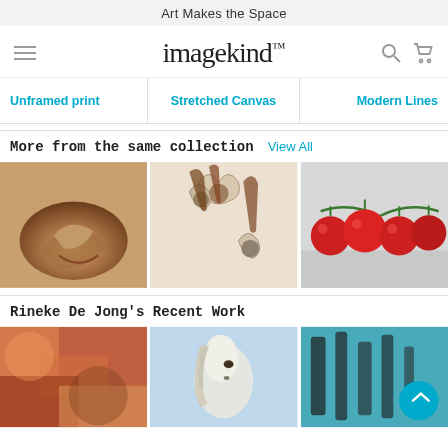Art Makes the Space
[Figure (logo): imagekind logo in handwritten/script font]
Unframed print
Stretched Canvas
Modern Lines
More from the same collection
View All
[Figure (photo): Painting of a shell or mushroom in warm brown tones]
[Figure (photo): Illustration of flowers/poppies in cream and brown tones]
[Figure (photo): Photo of red cherry tomatoes on vine against grey background]
Rineke De Jong's Recent Work
[Figure (photo): Colorful abstract painting in warm red/orange tones]
[Figure (photo): Painting of a white horse in light blue tones]
[Figure (photo): Painting of a zebra in teal/dark tones with blue circular button overlay]